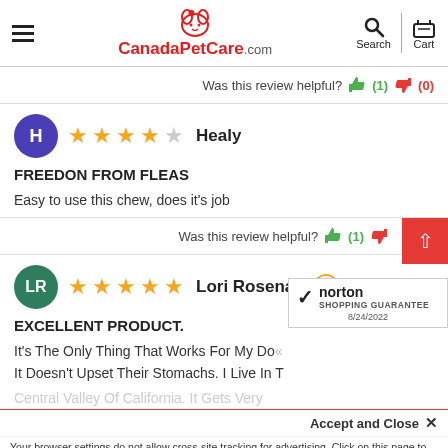CanadaPetCare.com
Was this review helpful? (1) (0)
Healy - 4 stars - FREEDON FROM FLEAS
Easy to use this chew, does it's job
Was this review helpful? (1)
Lori Rosenau - 5 stars - EXCELLENT PRODUCT.
It's The Only Thing That Works For My Do... It Doesn't Upset Their Stomachs. I Live In T...
Central Valley Of California. It Gets Very...
Accept and Close ×
Your browser settings do not allow cross-site tracking for advertising. Click on this page to allow AdRoll to use cross-site tracking to tailor ads to you. Learn more or opt out of this AdRoll tracking by clicking here. This message only appears once.
...Your Rescue And Has Product Works! Highly